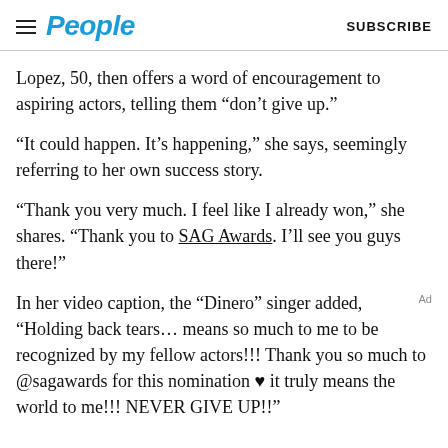People  SUBSCRIBE
Lopez, 50, then offers a word of encouragement to aspiring actors, telling them “don’t give up.”
“It could happen. It’s happening,” she says, seemingly referring to her own success story.
“Thank you very much. I feel like I already won,” she shares. “Thank you to SAG Awards. I’ll see you guys there!”
In her video caption, the “Dinero” singer added, “Holding back tears… means so much to me to be recognized by my fellow actors!!! Thank you so much to @sagawards for this nomination ♥ it truly means the world to me!!! NEVER GIVE UP!!”